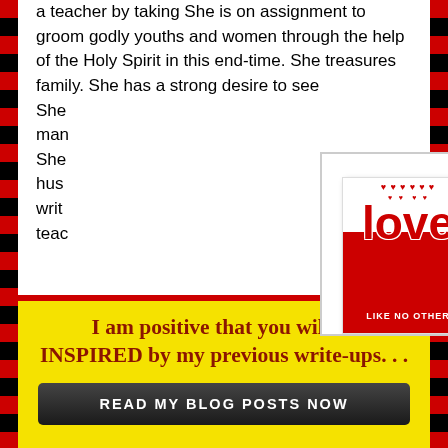a teacher by taking She is on assignment to groom godly youths and women through the help of the Holy Spirit in this end-time. She treasures family. She has a strong desire to see ... She ... man ... She ... hus... writ... teac...
[Figure (illustration): Popup modal showing two book covers: 'Love Like No Other' (red and white cover with large 'love' text and scattered hearts) and a second book by OMOSTRA Mary Omolola with a family silhouette under an arch on a dark sunset background. A red push-pin appears above the first book. Modal has an X close button.]
I am positive that you will be INSPIRED by my previous write-ups. . .
READ MY BLOG POSTS NOW